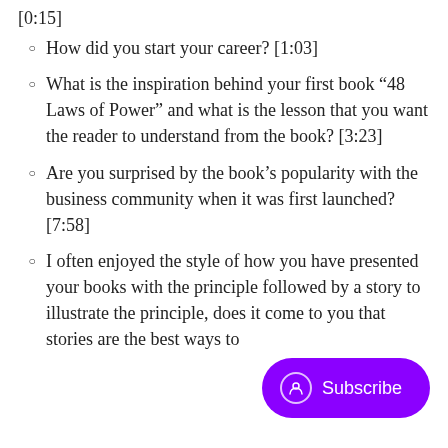[0:15]
How did you start your career? [1:03]
What is the inspiration behind your first book “48 Laws of Power” and what is the lesson that you want the reader to understand from the book? [3:23]
Are you surprised by the book’s popularity with the business community when it was first launched? [7:58]
I often enjoyed the style of how you have presented your books with the principle followed by a s[tory to] illustrate the principle, do[es it come] to you that stories are the best ways to